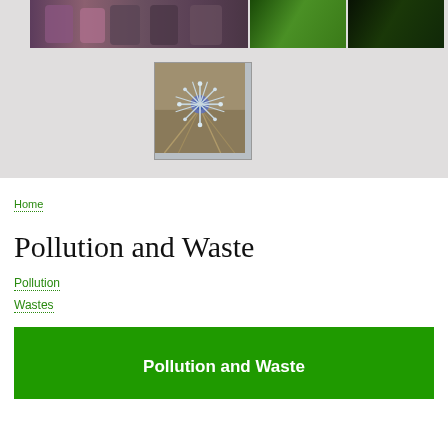[Figure (photo): Top banner area with photos: group of people on left, green foliage center-right, dark foliage far right, and a spiky thistle-like blue flower in center below]
Home
Pollution and Waste
Pollution
Wastes
Pollution and Waste